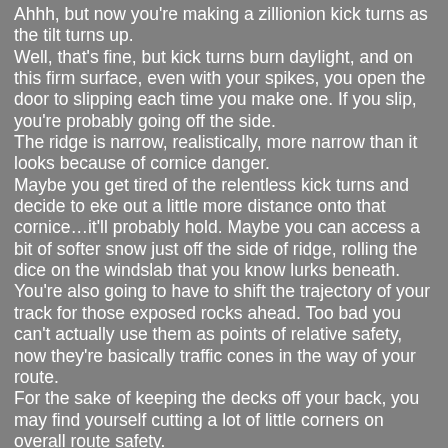Ahhh, but now you're making a zillionion kick turns as the tilt turns up.
Well, that's fine, but kick turns burn daylight, and on this firm surface, even with your spikes, you open the door to slipping each time you make one. If you slip, you're probably going off the side.
The ridge is narrow, realistically, more narrow than it looks because of cornice danger.
Maybe you get tired of the relentless kick turns and decide to eke out a little more distance onto that cornice…it'll probably hold. Maybe you can access a bit of softer snow just off the side of ridge, rolling the dice on the windslab that you know lurks beneath.
You're also going to have to shift the trajectory of your track for those exposed rocks ahead. Too bad you can't actually use them as points of relative safety, now they're basically traffic cones in the way of your route.
For the sake of keeping the decks off your back, you may find yourself cutting a lot of little corners on overall route safety.
On the other hand, maybe it's time to switch to bootie mode...